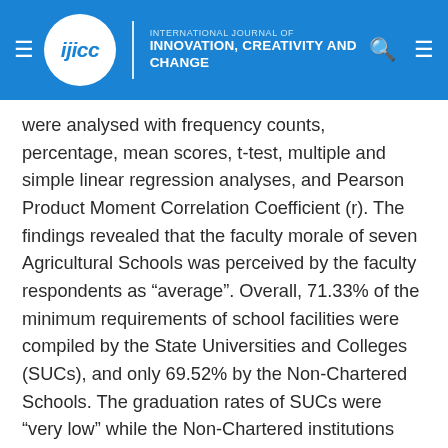INTERNATIONAL JOURNAL OF INNOVATION, CREATIVITY AND CHANGE
were analysed with frequency counts, percentage, mean scores, t-test, multiple and simple linear regression analyses, and Pearson Product Moment Correlation Coefficient (r). The findings revealed that the faculty morale of seven Agricultural Schools was perceived by the faculty respondents as “average”. Overall, 71.33% of the minimum requirements of school facilities were compiled by the State Universities and Colleges (SUCs), and only 69.52% by the Non-Chartered Schools. The graduation rates of SUCs were “very low” while the Non-Chartered institutions were only “low.” However, both schools produced “very high” retention rates and these have resulted to a “very low” percentage of dropout rates. On average, the cost per student and the number of teachers assigned to student in SUCs were higher compared to the Non-Chartered Schools. The percentages of “high achievers” and “low achievers” were equal. However, the knowledge level of the farming graduates from the SUCs was significantly higher than the respondents from Non-Chartered institutions. Based